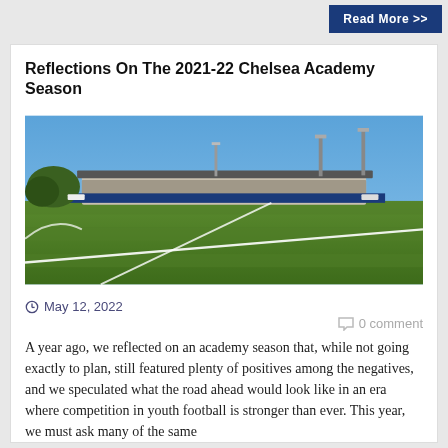Read More >>
Reflections On The 2021-22 Chelsea Academy Season
[Figure (photo): Wide-angle photograph of a football pitch with white line markings, green grass, and a stadium grandstand building visible in the background under a clear blue sky.]
May 12, 2022
0 comment
A year ago, we reflected on an academy season that, while not going exactly to plan, still featured plenty of positives among the negatives, and we speculated what the road ahead would look like in an era where competition in youth football is stronger than ever. This year, we must ask many of the same